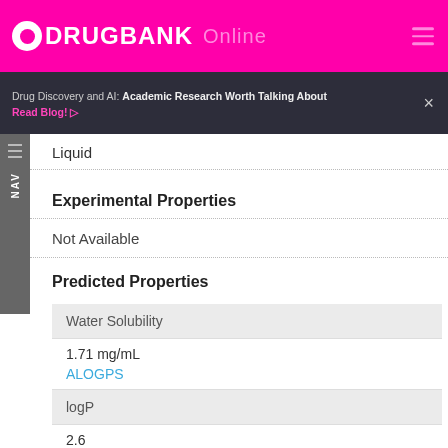DRUGBANK Online
Drug Discovery and AI: Academic Research Worth Talking About Read Blog!
Liquid
Experimental Properties
Not Available
Predicted Properties
| Property | Value | Source |
| --- | --- | --- |
| Water Solubility | 1.71 mg/mL | ALOGPS |
| logP | 2.6 | ALOGPS |